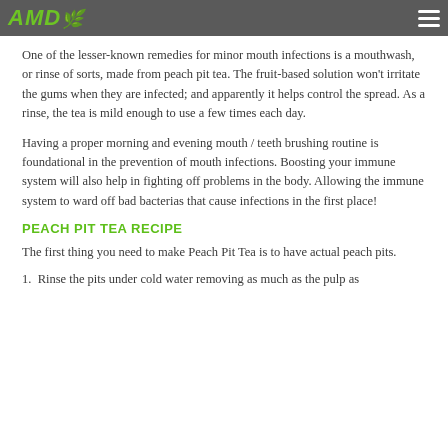AMD
One of the lesser-known remedies for minor mouth infections is a mouthwash, or rinse of sorts, made from peach pit tea. The fruit-based solution won't irritate the gums when they are infected; and apparently it helps control the spread. As a rinse, the tea is mild enough to use a few times each day.
Having a proper morning and evening mouth / teeth brushing routine is foundational in the prevention of mouth infections. Boosting your immune system will also help in fighting off problems in the body. Allowing the immune system to ward off bad bacterias that cause infections in the first place!
PEACH PIT TEA RECIPE
The first thing you need to make Peach Pit Tea is to have actual peach pits.
1.  Rinse the pits under cold water removing as much as the pulp as